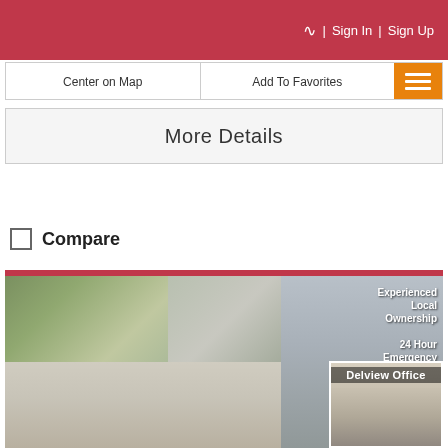RSS | Sign In | Sign Up
Center on Map | Add To Favorites
More Details
Compare
[Figure (photo): Apartment listing card showing multiple building photos including residential buildings with columns, a multi-story modern building, and a Delview Office building. Text overlay reads: Experienced Local Ownership, 24 Hour Emergency Maintenance.]